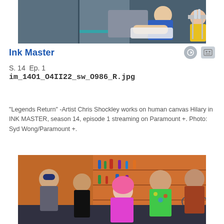[Figure (photo): Tattoo artist working on a person's leg in a studio setting. The person wears a blue dress, the artist wears a yellow top. Studio has teal lighting accents.]
Ink Master
S. 14  Ep. 1
im_14O1_O4II22_sw_O986_R.jpg
"Legends Return" -Artist Chris Shockley works on human canvas Hilary in INK MASTER, season 14, episode 1 streaming on Paramount +. Photo: Syd Wong/Paramount +.
[Figure (photo): Group of people in a studio environment with orange shelving in background. Includes a woman with pink hair in a colorful top, a man in a floral shirt, a woman with long dark hair and tattoos, and two other people.]